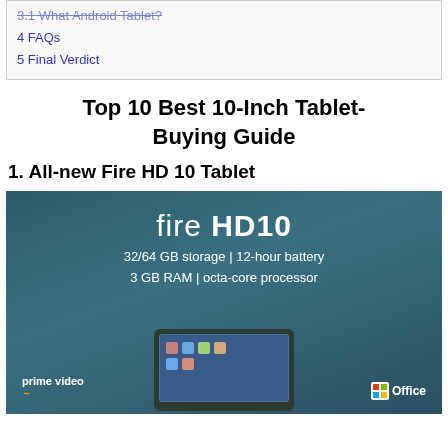3.1 What Android Tablet?
4 FAQs
5 Final Verdict
Top 10 Best 10-Inch Tablet-Buying Guide
1. All-new Fire HD 10 Tablet
[Figure (photo): Fire HD 10 tablet promotional image showing the product name, specs (32/64 GB storage, 12-hour battery, 3 GB RAM, octa-core processor), Prime Video and Microsoft Office logos, and a tablet device in the lower portion.]